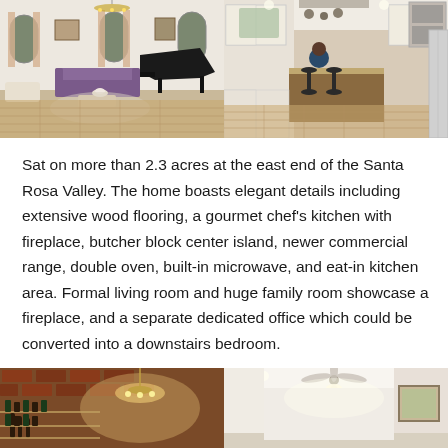[Figure (photo): Interior living room with grand piano, purple sofa, chandelier, wood floors, and arched windows with curtains]
[Figure (photo): Kitchen interior with white cabinetry, large island with bar stools, wood floors, and stainless steel appliances]
Sat on more than 2.3 acres at the east end of the Santa Rosa Valley. The home boasts elegant details including extensive wood flooring, a gourmet chef's kitchen with fireplace, butcher block center island, newer commercial range, double oven, built-in microwave, and eat-in kitchen area. Formal living room and huge family room showcase a fireplace, and a separate dedicated office which could be converted into a downstairs bedroom.
[Figure (photo): Wine cellar or bar area with brick arched ceiling, chandelier, and wine storage]
[Figure (photo): Bright room with ceiling fan, framed artwork, and white walls]